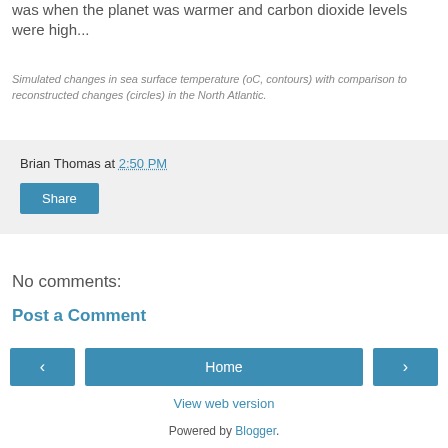was when the planet was warmer and carbon dioxide levels were high...
Simulated changes in sea surface temperature (oC, contours) with comparison to reconstructed changes (circles) in the North Atlantic.
Brian Thomas at 2:50 PM
Share
No comments:
Post a Comment
Home
View web version
Powered by Blogger.